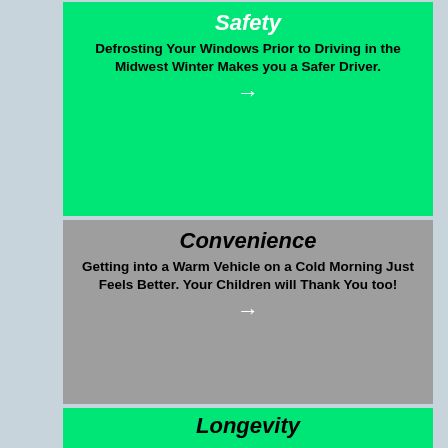Safety
Defrosting Your Windows Prior to Driving in the Midwest Winter Makes you a Safer Driver.
Convenience
Getting into a Warm Vehicle on a Cold Morning Just Feels Better. Your Children will Thank You too!
Longevity